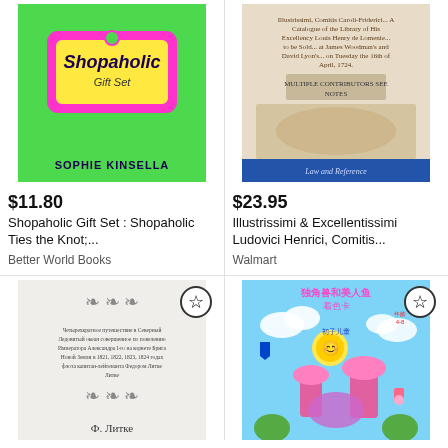[Figure (photo): Book cover: Shopaholic Gift Set by Sophie Kinsella, green background with price tag graphic]
[Figure (photo): Book cover: Illustrissimi & Excellentissimi Ludovici Henrici, Comitis... old law and reference book]
$11.80
Shopaholic Gift Set : Shopaholic Ties the Knot;...
Better World Books
$23.95
Illustrissimi & Excellentissimi Ludovici Henrici, Comitis...
Walmart
[Figure (photo): Russian book cover with ornamental decoration and author name Ф. Литке]
[Figure (photo): Chinese children's coloring book with colorful unicorn and mermaid illustration]